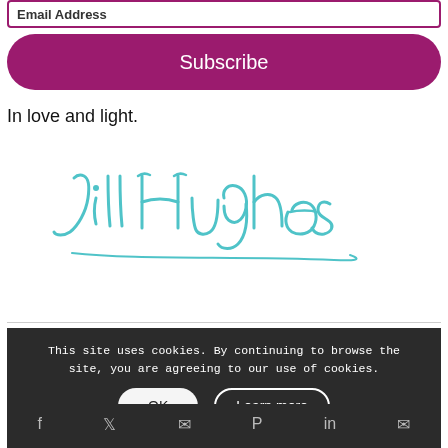[Figure (screenshot): Email address input field with purple border]
Subscribe
In love and light.
[Figure (illustration): Handwritten signature reading 'Jill Hughes' in teal/turquoise cursive script]
This site uses cookies. By continuing to browse the site, you are agreeing to our use of cookies.
OK
Learn more